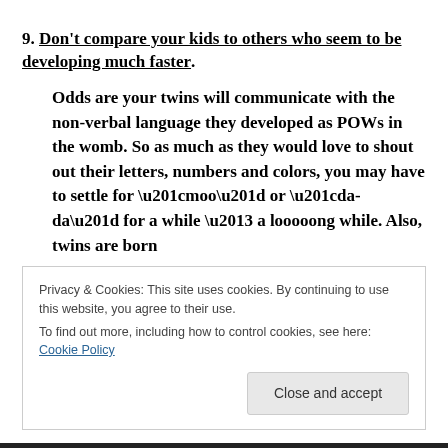9. Don't compare your kids to others who seem to be developing much faster.
Odds are your twins will communicate with the non-verbal language they developed as POWs in the womb. So as much as they would love to shout out their letters, numbers and colors, you may have to settle for “moo” or “da-da” for a while – a looooong while. Also, twins are born
Privacy & Cookies: This site uses cookies. By continuing to use this website, you agree to their use.
To find out more, including how to control cookies, see here: Cookie Policy